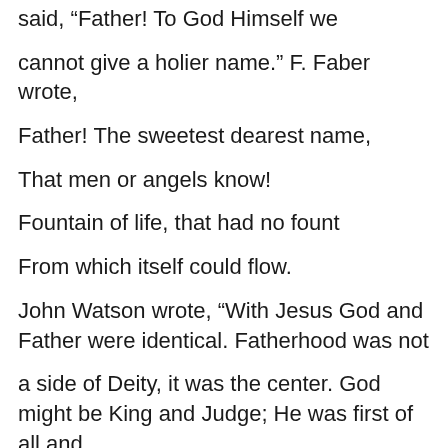said, “Father! To God Himself we cannot give a holier name.” F. Faber wrote,
Father! The sweetest dearest name,
That men or angels know!
Fountain of life, that had no fount
From which itself could flow.
John Watson wrote, “With Jesus God and Father were identical. Fatherhood was not a side of Deity, it was the center. God might be King and Judge; He was first of all and last of all, and through all, Father.” The very first word we have recorded of Jesus was